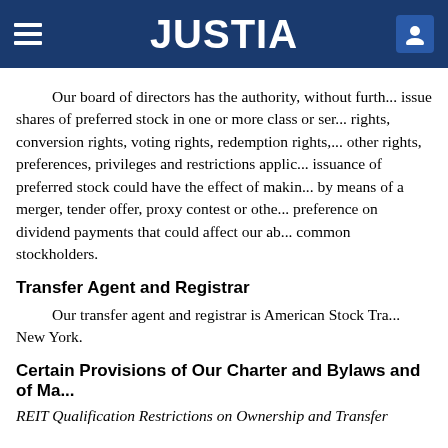JUSTIA
Our board of directors has the authority, without furth... issue shares of preferred stock in one or more class or ser... rights, conversion rights, voting rights, redemption rights, other rights, preferences, privileges and restrictions applic... issuance of preferred stock could have the effect of makin... by means of a merger, tender offer, proxy contest or othe... preference on dividend payments that could affect our ab... common stockholders.
Transfer Agent and Registrar
Our transfer agent and registrar is American Stock Tra... New York.
Certain Provisions of Our Charter and Bylaws and of Ma...
REIT Qualification Restrictions on Ownership and Transfer